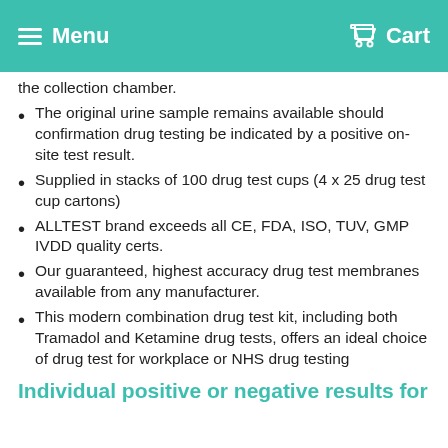Menu  Cart
the collection chamber.
The original urine sample remains available should confirmation drug testing be indicated by a positive on-site test result.
Supplied in stacks of 100 drug test cups (4 x 25 drug test cup cartons)
ALLTEST brand exceeds all CE, FDA, ISO, TUV, GMP IVDD quality certs.
Our guaranteed, highest accuracy drug test membranes available from any manufacturer.
This modern combination drug test kit, including both Tramadol and Ketamine drug tests, offers an ideal choice of drug test for workplace or NHS drug testing
Individual positive or negative results for